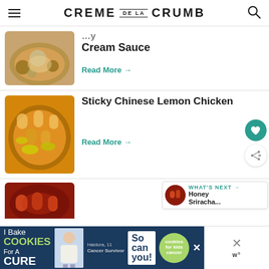CREME DE LA CRUMB
Cream Sauce
Read More →
Sticky Chinese Lemon Chicken
Read More →
WHAT'S NEXT → Honey Sriracha...
[Figure (screenshot): Advertisement banner: I Bake COOKIES For A CURE - Haidora, 11 Cancer Survivor - So can you! - cookies for kids cancer]